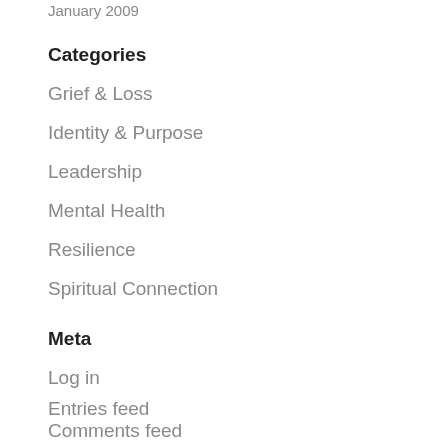January 2009
Categories
Grief & Loss
Identity & Purpose
Leadership
Mental Health
Resilience
Spiritual Connection
Meta
Log in
Entries feed
Comments feed
WordPress.org